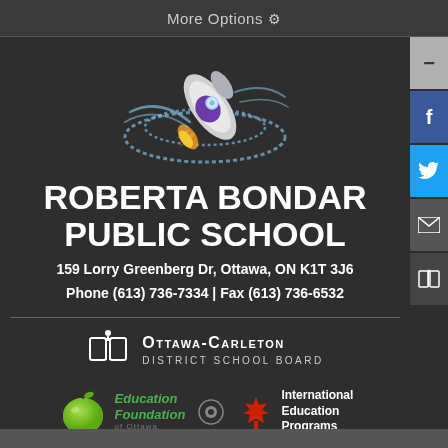More Options ⚙
[Figure (illustration): Rocket ship mascot with blue swoosh trails on dark background]
ROBERTA BONDAR PUBLIC SCHOOL
159 Lorry Greenberg Dr, Ottawa, ON K1T 3J6
Phone (613) 736-7334 | Fax (613) 736-6532
[Figure (logo): Ottawa-Carleton District School Board logo with open book icon]
[Figure (logo): Education Foundation of Ottawa logo with green apple]
[Figure (logo): International Education Programs logo with maple leaf]